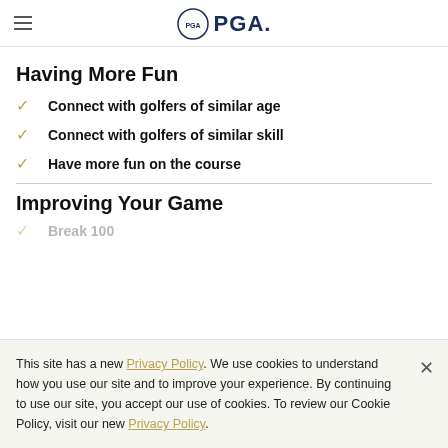PGA
Having More Fun
Connect with golfers of similar age
Connect with golfers of similar skill
Have more fun on the course
Improving Your Game
This site has a new Privacy Policy. We use cookies to understand how you use our site and to improve your experience. By continuing to use our site, you accept our use of cookies. To review our Cookie Policy, visit our new Privacy Policy.